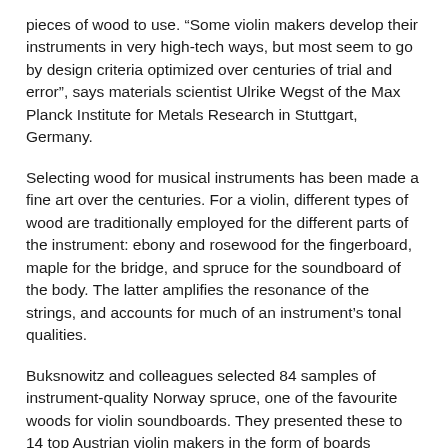pieces of wood to use. “Some violin makers develop their instruments in very high-tech ways, but most seem to go by design criteria optimized over centuries of trial and error”, says materials scientist Ulrike Wegst of the Max Planck Institute for Metals Research in Stuttgart, Germany.
Selecting wood for musical instruments has been made a fine art over the centuries. For a violin, different types of wood are traditionally employed for the different parts of the instrument: ebony and rosewood for the fingerboard, maple for the bridge, and spruce for the soundboard of the body. The latter amplifies the resonance of the strings, and accounts for much of an instrument’s tonal qualities.
Buksnowitz and colleagues selected 84 samples of instrument-quality Norway spruce, one of the favourite woods for violin soundboards. They presented these to 14 top Austrian violin makers in the form of boards measuring 40 by 15 cm. The luthiers were asked to grade the woods according to acoustics, appearance, and overall suitability for making violins.